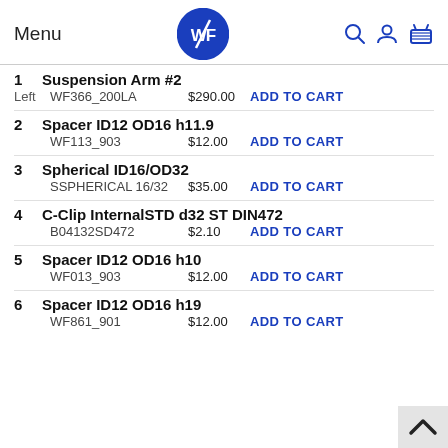Menu | WF Logo | Search | User | Cart
1  Suspension Arm #2
Left  WF366_200LA  $290.00  ADD TO CART
2  Spacer ID12 OD16 h11.9
WF113_903  $12.00  ADD TO CART
3  Spherical ID16/OD32
SSPHERICAL 16/32  $35.00  ADD TO CART
4  C-Clip InternalSTD d32 ST DIN472
B04132SD472  $2.10  ADD TO CART
5  Spacer ID12 OD16 h10
WF013_903  $12.00  ADD TO CART
6  Spacer ID12 OD16 h19
WF861_901  $12.00  ADD TO CART